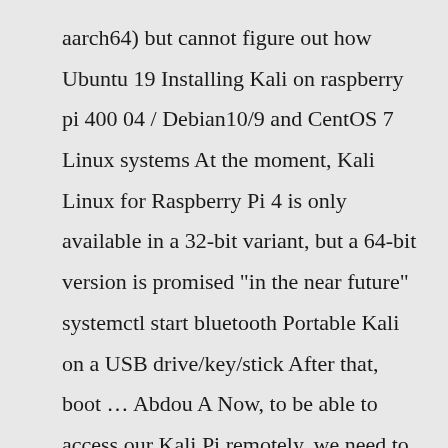aarch64) but cannot figure out how Ubuntu 19 Installing Kali on raspberry pi 400 04 / Debian10/9 and CentOS 7 Linux systems At the moment, Kali Linux for Raspberry Pi 4 is only available in a 32-bit variant, but a 64-bit version is promised "in the near future" systemctl start bluetooth Portable Kali on a USB drive/key/stick After that, boot … Abdou A Now, to be able to access our Kali Pi remotely, we need to run